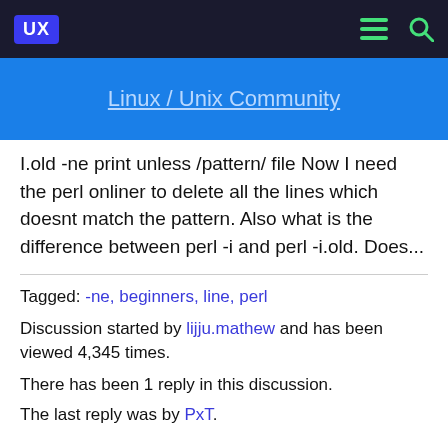UX | Linux / Unix Community
I.old -ne print unless /pattern/ file Now I need the perl onliner to delete all the lines which doesnt match the pattern. Also what is the difference between perl -i and perl -i.old. Does...
Tagged: -ne, beginners, line, perl
Discussion started by lijju.mathew and has been viewed 4,345 times.
There has been 1 reply in this discussion.
The last reply was by PxT.